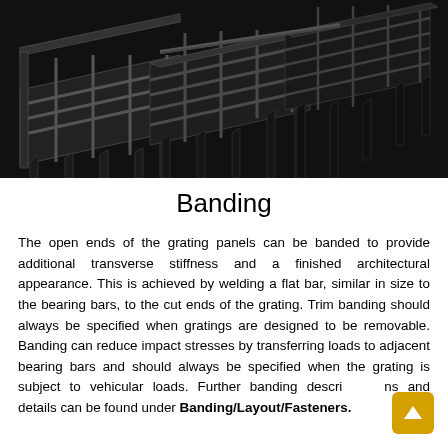[Figure (photo): Photograph of metal grating panels showing banding on open ends, dark steel bar grating with triangular support legs viewed at an angle]
Banding
The open ends of the grating panels can be banded to provide additional transverse stiffness and a finished architectural appearance. This is achieved by welding a flat bar, similar in size to the bearing bars, to the cut ends of the grating. Trim banding should always be specified when gratings are designed to be removable. Banding can reduce impact stresses by transferring loads to adjacent bearing bars and should always be specified when the grating is subject to vehicular loads. Further banding descriptions and details can be found under Banding/Layout/Fasteners.